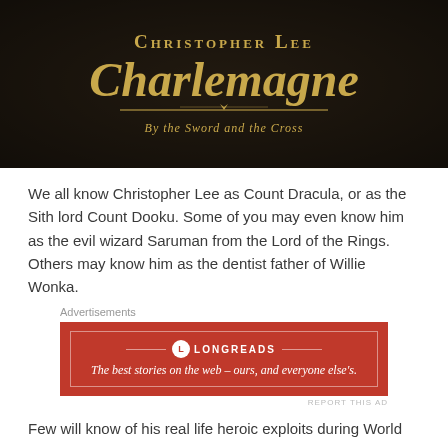[Figure (photo): Dark cinematic image with golden text reading 'Christopher Lee Charlemagne By the Sword and the Cross' with a decorative sword graphic]
We all know Christopher Lee as Count Dracula, or as the Sith lord Count Dooku. Some of you may even know him as the evil wizard Saruman from the Lord of the Rings. Others may know him as the dentist father of Willie Wonka.
[Figure (screenshot): Longreads advertisement banner in red: 'The best stories on the web – ours, and everyone else's.']
Few will know of his real life heroic exploits during World